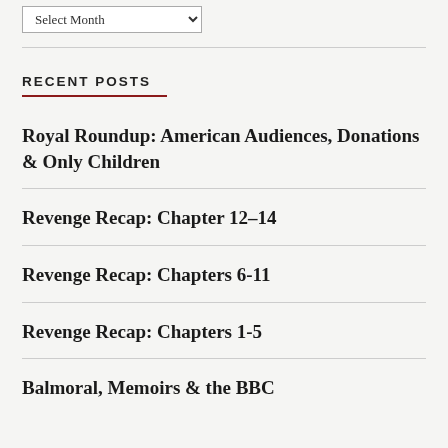RECENT POSTS
Royal Roundup: American Audiences, Donations & Only Children
Revenge Recap: Chapter 12–14
Revenge Recap: Chapters 6-11
Revenge Recap: Chapters 1-5
Balmoral, Memoirs & the BBC